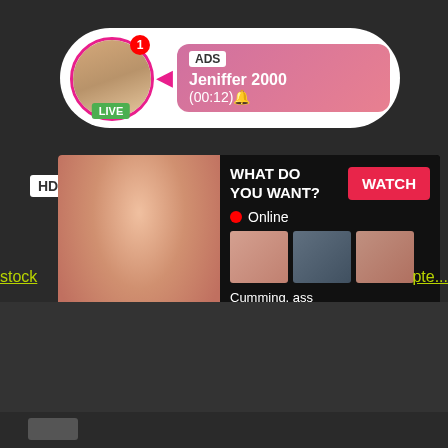[Figure (screenshot): Adult advertising notification popup showing avatar with LIVE badge, ADS tag, username Jeniffer 2000, time (00:12)]
ADS
Jeniffer 2000
(00:12)🔔
LIVE
HD
min
[Figure (screenshot): Adult content advertisement popup with image on left, WHAT DO YOU WANT? text, WATCH button, Online status, thumbnail images, and text: Cumming, ass fucking, squirt or... • ADS]
WHAT DO YOU WANT?
WATCH
• Online
Cumming, ass fucking, squirt or...
• ADS
stock
pte...